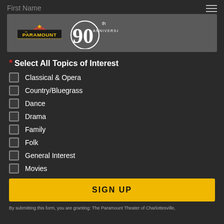First Name
[Figure (logo): The Paramount Theater logo with 90th Anniversary badge]
* Select All Topics of Interest
Classical & Opera
Country/Bluegrass
Dance
Drama
Family
Folk
General Interest
Movies
SIGN UP
By submitting this form, you are granting: The Paramount Theater of Charlottesville,